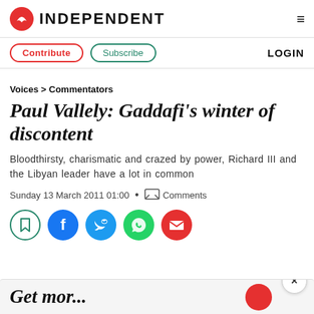INDEPENDENT
Contribute  Subscribe  LOGIN
Voices > Commentators
Paul Vallely: Gaddafi's winter of discontent
Bloodthirsty, charismatic and crazed by power, Richard III and the Libyan leader have a lot in common
Sunday 13 March 2011 01:00 • Comments
[Figure (illustration): Social sharing icons: bookmark, Facebook, Twitter, WhatsApp, email]
Get mor...